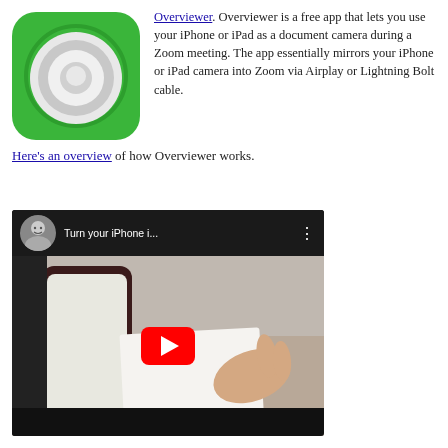[Figure (logo): Overviewer app icon — green rounded square with white concentric rings]
Overviewer. Overviewer is a free app that lets you use your iPhone or iPad as a document camera during a Zoom meeting. The app essentially mirrors your iPhone or iPad camera into Zoom via Airplay or Lightning Bolt cable.
Here's an overview of how Overviewer works.
[Figure (screenshot): YouTube video thumbnail showing 'Turn your iPhone i...' with a person's avatar, play button, and hands holding an iPhone over paper]